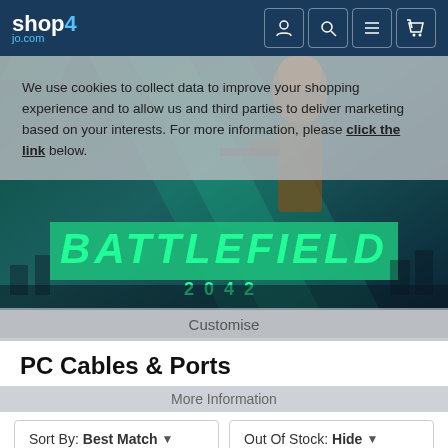[Figure (screenshot): Shop4jo.com e-commerce website header with navigation icons on dark blue background]
[Figure (screenshot): Battlefield 2042 promotional banner image with teal/dark background and soldier]
We use cookies to collect data to improve your shopping experience and to allow us and third parties to deliver marketing based on your interests. For more information, please click the link below.
Customise
PC Cables & Ports
More Information
Sort By: Best Match ▼
Out Of Stock: Hide ▼
No results found.
Always be the first to know.